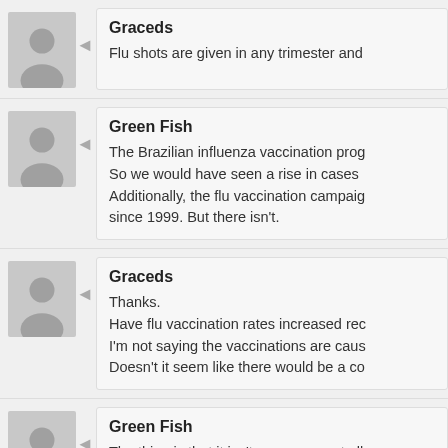Graceds
Flu shots are given in any trimester and
Green Fish
The Brazilian influenza vaccination prog
So we would have seen a rise in cases
Additionally, the flu vaccination campaig
since 1999. But there isn't.
Graceds
Thanks.
Have flu vaccination rates increased rec
I'm not saying the vaccinations are caus
Doesn't it seem like there would be a co
Green Fish
The thing is that it isn't uncommon at all